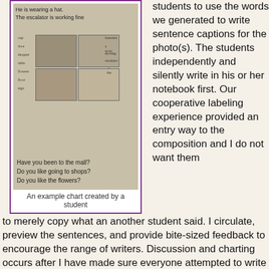[Figure (photo): A student-created chart showing handwritten sentences at top ('He is wearing a hat. The escalator is working fine.'), a collage of mall photos in the middle with labels, and handwritten questions at the bottom ('Have you been to the mall? Do you like going to shops? Do you like the flowers?')]
An example chart created by a student
students to use the words we generated to write sentence captions for the photo(s). The students independently and silently write in his or her notebook first.  Our cooperative labeling experience provided an entry way to the composition and I do not want them to merely copy what an another student said.  I circulate, preview the sentences, and provide bite-sized feedback to encourage the range of writers.  Discussion and charting occurs after I have made sure everyone attempted to write something in the notebook.  I write on the board or type the sentences and questions offered by volunteers. This is my full circle opportunity to highlight and extend the grammar skills we have previously studied in isolation!